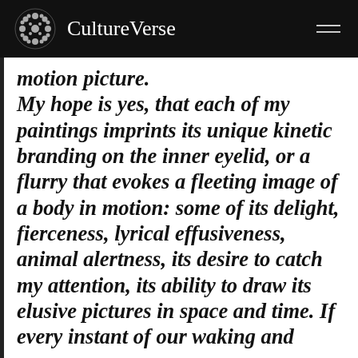CultureVerse
motion picture. My hope is yes, that each of my paintings imprints its unique kinetic branding on the inner eyelid, or a flurry that evokes a fleeting image of a body in motion: some of its delight, fierceness, lyrical effusiveness, animal alertness, its desire to catch my attention, its ability to draw its elusive pictures in space and time. If every instant of our waking and